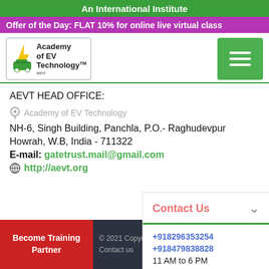An International Institute
Offer of the Day: FLAT 10% for online live virtual class
[Figure (logo): Academy of EV Technology logo with TM mark, showing EV car and charging icons]
AEVT HEAD OFFICE:
Academy of EV Technology
NH-6, Singh Building, Panchla, P.O.- Raghudevpur
Howrah, W.B, India - 711322
E-mail: gatetrust.mail@gmail.com
http://aevt.org
Contact Us
+918296353254
+918479838828
11 AM to 6 PM
© 2021 Copyright Academy of EV Technology™
Become Training Partner
Contact us